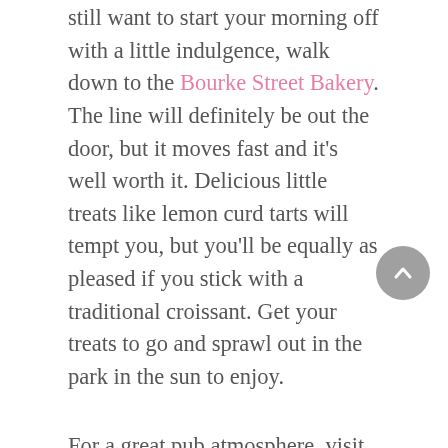still want to start your morning off with a little indulgence, walk down to the Bourke Street Bakery. The line will definitely be out the door, but it moves fast and it's well worth it. Delicious little treats like lemon curd tarts will tempt you, but you'll be equally as pleased if you stick with a traditional croissant. Get your treats to go and sprawl out in the park in the sun to enjoy.
For a great pub atmosphere, visit the Beresford Hotel. Seemingly average from the outside, it opens up to a beautiful